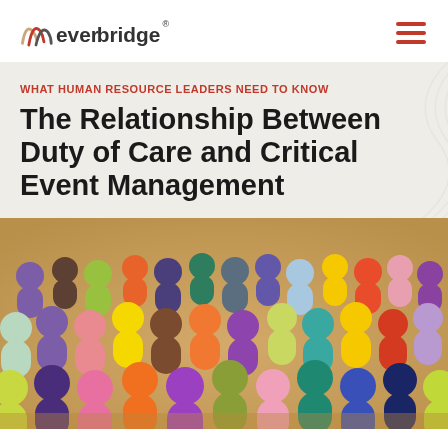[Figure (logo): Everbridge logo with stylized mountain/wave icon and brand name in dark gray with 'ever' in dark and 'bridge' in dark text, registered trademark symbol]
WHAT HUMAN RESOURCE LEADERS NEED TO KNOW
The Relationship Between Duty of Care and Critical Event Management
[Figure (photo): Overhead view of a large crowd of colorful paper/cutout human figures in various colors including yellow, purple, orange, green, pink, teal, red, blue, representing diversity of people]